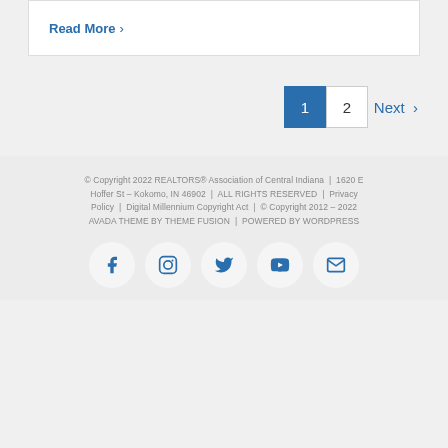Read More >
1  2  Next >
© Copyright 2022 REALTORS® Association of Central Indiana  |  1620 E Hoffer St – Kokomo, IN 46902  |  ALL RIGHTS RESERVED  |  Privacy Policy  |  Digital Millennium Copyright Act  |  © Copyright 2012 – 2022 AVADA THEME BY THEME FUSION  |  POWERED BY WORDPRESS
[Figure (infographic): Row of 5 social media icons in circles: Facebook, Instagram, Twitter, YouTube, Email]